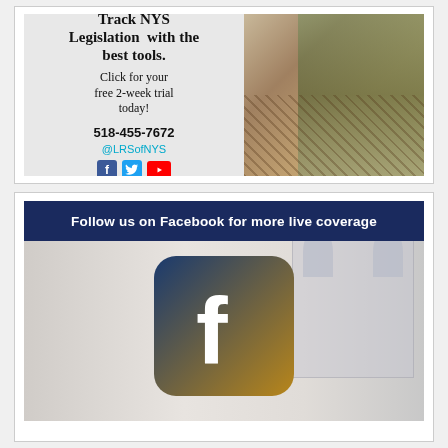[Figure (infographic): LRS advertisement: Track NYS Legislation with the best tools. Click for your free 2-week trial today! 518-455-7672 @LRSofNYS with social icons and a hallway photo on the right.]
[Figure (infographic): Facebook promotion banner: Follow us on Facebook for more live coverage, with a large Facebook logo icon over a faded outdoor scene background.]